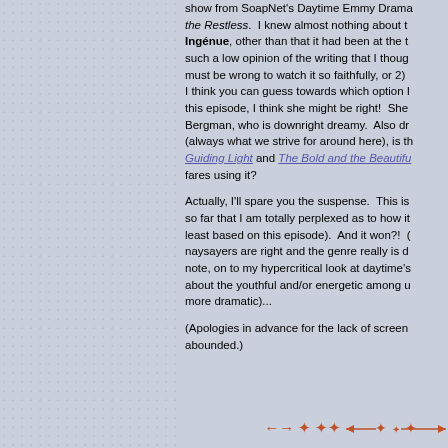show from SoapNet's Daytime Emmy Drama the Restless. I knew almost nothing about the Ingénue, other than that it had been at the t such a low opinion of the writing that I thou must be wrong to watch it so faithfully, or 2) I think you can guess towards which option I this episode, I think she might be right! She Bergman, who is downright dreamy. Also dr (always what we strive for around here), is t Guiding Light and The Bold and the Beautifu fares using it?
Actually, I'll spare you the suspense. This is so far that I am totally perplexed as to how it least based on this episode). And it won?! naysayers are right and the genre really is c note, on to my hypercritical look at daytime's about the youthful and/or energetic among u more dramatic)...
(Apologies in advance for the lack of screen abounded.)